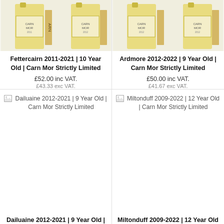[Figure (photo): Whisky bottle - Fettercairn 2011-2021 Carn Mor Strictly Limited]
Fettercairn 2011-2021 | 10 Year Old | Carn Mor Strictly Limited
£52.00 inc VAT.
£43.33 exc VAT.
[Figure (photo): Whisky bottle - Ardmore 2012-2022 Carn Mor Strictly Limited]
Ardmore 2012-2022 | 9 Year Old | Carn Mor Strictly Limited
£50.00 inc VAT.
£41.67 exc VAT.
[Figure (photo): Broken image placeholder - Dailuaine 2012-2021 | 9 Year Old | Carn Mor Strictly Limited]
Dailuaine 2012-2021 | 9 Year Old | Carn Mor Strictly Limited
[Figure (photo): Broken image placeholder - Miltonduff 2009-2022 | 12 Year Old | Carn Mor Strictly Limited]
Miltonduff 2009-2022 | 12 Year Old | Carn Mor Strictly Limited
Dailuaine 2012-2021 | 9 Year Old | Carn Mor Strictly
Miltonduff 2009-2022 | 12 Year Old | Carn Mor Strictly